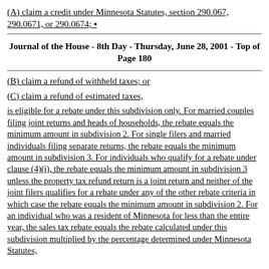(A) claim a credit under Minnesota Statutes, section 290.067, 290.0671, or 290.0674; ▪
Journal of the House - 8th Day - Thursday, June 28, 2001 - Top of Page 180
(B) claim a refund of withheld taxes; or
(C) claim a refund of estimated taxes,
is eligible for a rebate under this subdivision only. For married couples filing joint returns and heads of households, the rebate equals the minimum amount in subdivision 2. For single filers and married individuals filing separate returns, the rebate equals the minimum amount in subdivision 3. For individuals who qualify for a rebate under clause (4)(i), the rebate equals the minimum amount in subdivision 3 unless the property tax refund return is a joint return and neither of the joint filers qualifies for a rebate under any of the other rebate criteria in which case the rebate equals the minimum amount in subdivision 2. For an individual who was a resident of Minnesota for less than the entire year, the sales tax rebate equals the rebate calculated under this subdivision multiplied by the percentage determined under Minnesota Statutes, section 290.06, subdivision 2c, paragraph (e), and clauses 1 and 2.